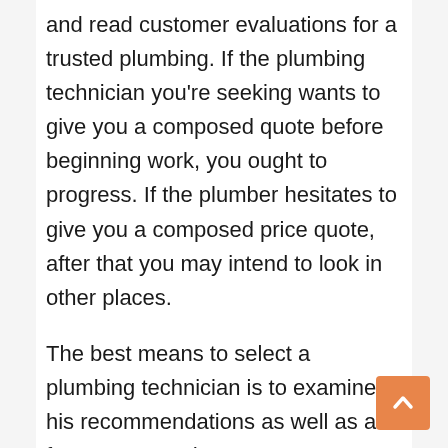and read customer evaluations for a trusted plumbing. If the plumbing technician you're seeking wants to give you a composed quote before beginning work, you ought to progress. If the plumber hesitates to give you a composed price quote, after that you may intend to look in other places.
The best means to select a plumbing technician is to examine his recommendations as well as ask for a composed quote. Some plumbing professionals might ask for an inspection of your plumbing trouble before using you a quote. It's ideal to obtain a created quote